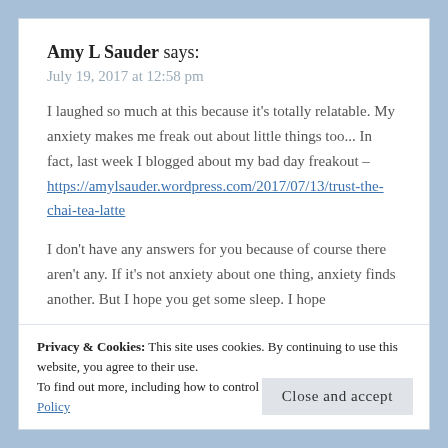Amy L Sauder says:
July 19, 2017 at 12:58 pm
I laughed so much at this because it's totally relatable. My anxiety makes me freak out about little things too... In fact, last week I blogged about my bad day freakout – https://amylsauder.wordpress.com/2017/07/13/trust-the-chai-tea-latte
I don't have any answers for you because of course there aren't any. If it's not anxiety about one thing, anxiety finds another. But I hope you get some sleep. I hope
Privacy & Cookies: This site uses cookies. By continuing to use this website, you agree to their use.
To find out more, including how to control cookies, see here: Cookie Policy
Close and accept